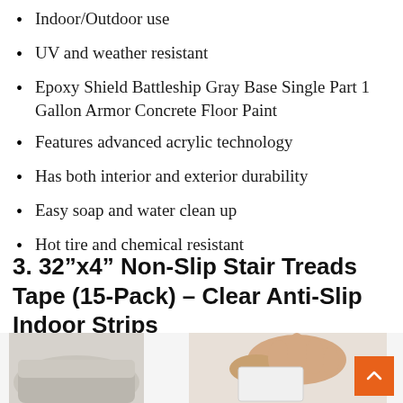Indoor/Outdoor use
UV and weather resistant
Epoxy Shield Battleship Gray Base Single Part 1 Gallon Armor Concrete Floor Paint
Features advanced acrylic technology
Has both interior and exterior durability
Easy soap and water clean up
Hot tire and chemical resistant
3. 32”x4” Non-Slip Stair Treads Tape (15-Pack) – Clear Anti-Slip Indoor Strips
[Figure (photo): Product photo showing non-slip stair tread tape being applied by hand, with stair tread on the left and a hand peeling/applying a white strip on the right. An orange scroll-to-top button is visible in the bottom right corner.]